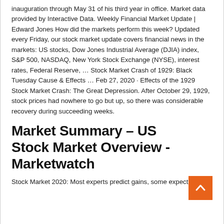inauguration through May 31 of his third year in office. Market data provided by Interactive Data. Weekly Financial Market Update | Edward Jones How did the markets perform this week? Updated every Friday, our stock market update covers financial news in the markets: US stocks, Dow Jones Industrial Average (DJIA) index, S&P 500, NASDAQ, New York Stock Exchange (NYSE), interest rates, Federal Reserve, … Stock Market Crash of 1929: Black Tuesday Cause & Effects … Feb 27, 2020 · Effects of the 1929 Stock Market Crash: The Great Depression. After October 29, 1929, stock prices had nowhere to go but up, so there was considerable recovery during succeeding weeks.
Market Summary – US Stock Market Overview - Marketwatch
Stock Market 2020: Most experts predict gains, some expect